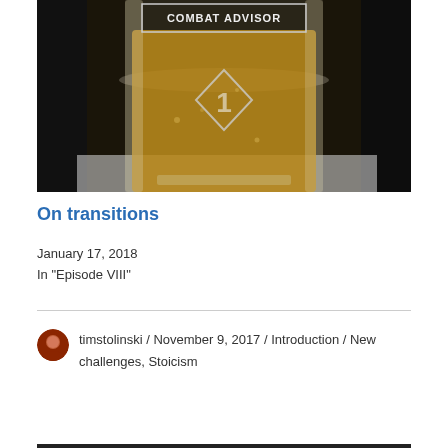[Figure (photo): Close-up photo of a glass beer mug with 'COMBAT ADVISOR' text etched at the top and a military rank insignia (chevron/diamond shape) etched in the center, filled with amber beer.]
On transitions
January 17, 2018
In "Episode VIII"
timstolinski / November 9, 2017 / Introduction / New challenges, Stoicism